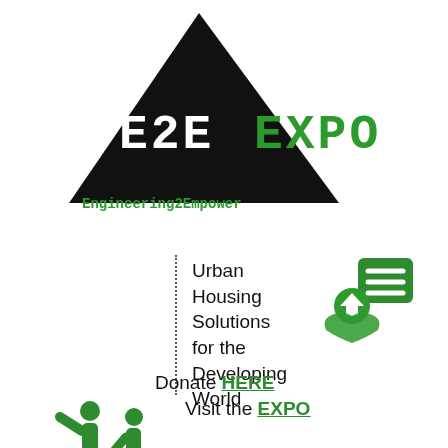[Figure (logo): E2E EXPO logo with black triangle and text 'E2E' in white on black, 'EXPO' in green, and tagline 'Engineering2Empower' in green below]
Urban Housing Solutions for the Developing World
[Figure (illustration): Green housing icon with hands holding a house and a green document/menu icon]
Donate HERE
Visit the EXPO
[Figure (illustration): Two green stick figure people icons, one pointing/gesturing]